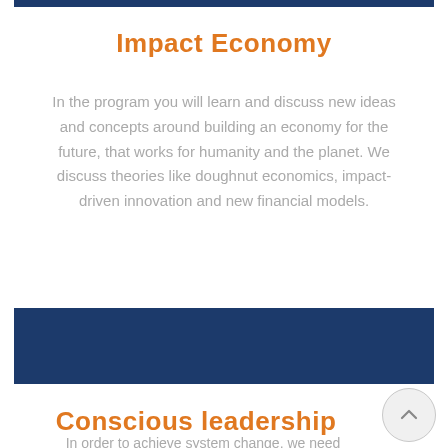Impact Economy
In the program you will learn and discuss new ideas and concepts around building an economy for the future, that works for humanity and the planet. We discuss theories like doughnut economics, impact-driven innovation and new financial models.
Conscious leadership
In order to achieve system change, we need